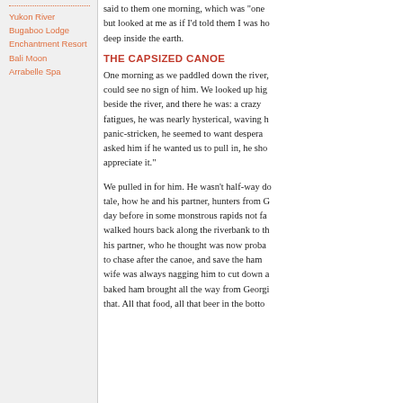Yukon River
Bugaboo Lodge
Enchantment Resort
Bali Moon
Arrabelle Spa
said to them one morning, which was "one but looked at me as if I'd told them I was h deep inside the earth.
THE CAPSIZED CANOE
One morning as we paddled down the river, could see no sign of him. We looked up hig beside the river, and there he was: a crazy fatigues, he was nearly hysterical, waving h panic-stricken, he seemed to want despera asked him if he wanted us to pull in, he sho appreciate it."
We pulled in for him. He wasn't half-way do tale, how he and his partner, hunters from G day before in some monstrous rapids not fa walked hours back along the riverbank to th his partner, who he thought was now proba to chase after the canoe, and save the ham wife was always nagging him to cut down a baked ham brought all the way from Georgi that. All that food, all that beer in the botto